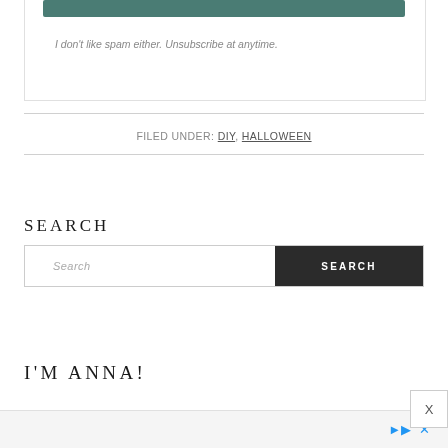[Figure (other): Teal/dark green subscribe button bar at top of a subscription form box]
I don't like spam either. Unsubscribe at anytime.
FILED UNDER: DIY, HALLOWEEN
SEARCH
[Figure (other): Search input field with placeholder text 'Search' and a dark 'SEARCH' button on the right]
I'M ANNA!
Ad icons and close button